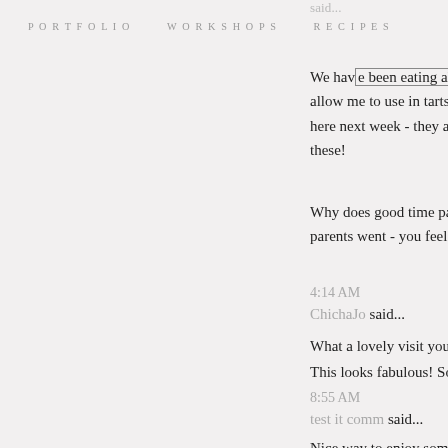PORTFOLIO   WORKSHOPS   RECIPES
said...
We have been eating alphonsos every day ti allow me to use in tarts or custards or even ice here next week - they are a little finicky abo these!
Why does good time pass just fly?? I know ho parents went - you feel like a little home alone
4:14 AM
ChichaJo said...
What a lovely visit you and your parents had!
This looks fabulous! Something new and delici
8:55 AM
test it comm said...
Nice way to enjoy some mangoes! Great photo
10:30 PM
Anonymous said...